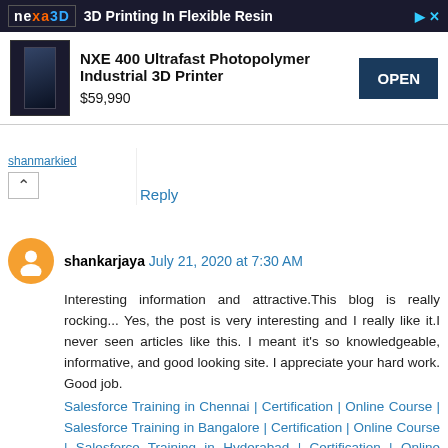[Figure (other): Advertisement banner for Nexa3D: '3D Printing In Flexible Resin' featuring NXE 400 Ultrafast Photopolymer Industrial 3D Printer priced at $59,990 with an OPEN button]
shanmarkied
Reply
shankarjaya July 21, 2020 at 7:30 AM
Interesting information and attractive.This blog is really rocking... Yes, the post is very interesting and I really like it.I never seen articles like this. I meant it's so knowledgeable, informative, and good looking site. I appreciate your hard work. Good job.
Salesforce Training in Chennai | Certification | Online Course | Salesforce Training in Bangalore | Certification | Online Course | Salesforce Training in Hyderabad | Certification | Online Course | Salesforce Training in Pune | Certification | Online Course | Salesforce Online Training | Salesforce Training